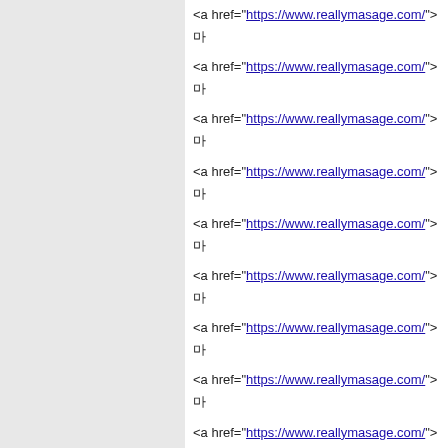<a href="https://www.reallymasage.com/">마
<a href="https://www.reallymasage.com/">마
<a href="https://www.reallymasage.com/">마
<a href="https://www.reallymasage.com/">마
<a href="https://www.reallymasage.com/">마
<a href="https://www.reallymasage.com/">마
<a href="https://www.reallymasage.com/">마
<a href="https://www.reallymasage.com/">마
<a href="https://www.reallymasage.com/">마
<a href="https://www.reallymasage.com/">마
<a href="https://www.reallymasage.com/">마
<a href="https://www.reallymasage.com/">마
마사지업소 홍보글   22-06-06 21:10
마사지업소 홍보 게시물입니다 삭제후 이용바랍니다.
<a href="https://www.healinganma.com/">힐
<a href="https://www.healinganma.com/">힐
<a href="https://www.healinganma.com/seo">힐